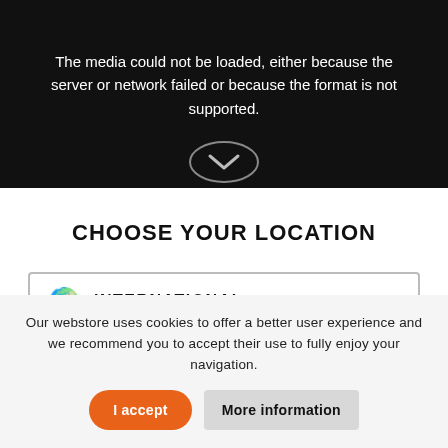[Figure (screenshot): Black video player area showing error message: 'The media could not be loaded, either because the server or network failed or because the format is not supported.' with a partial circular icon at the bottom.]
CHOOSE YOUR LOCATION
🌍 INTERNATIONAL
CONFIRM
Our webstore uses cookies to offer a better user experience and we recommend you to accept their use to fully enjoy your navigation.
I accept
More information